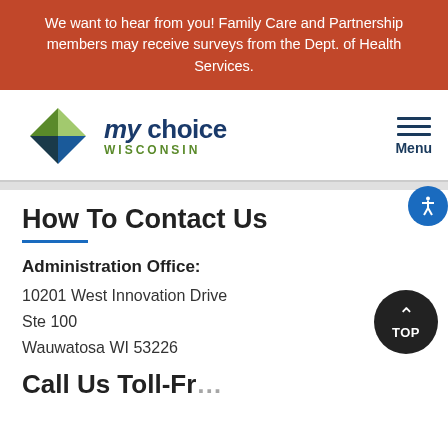We want to hear from you! Family Care and Partnership members may receive surveys from the Dept. of Health Services.
[Figure (logo): My Choice Wisconsin logo with green and blue overlapping leaf/arrow shapes and text 'my choice WISCONSIN']
How To Contact Us
Administration Office:
10201 West Innovation Drive
Ste 100
Wauwatosa WI 53226